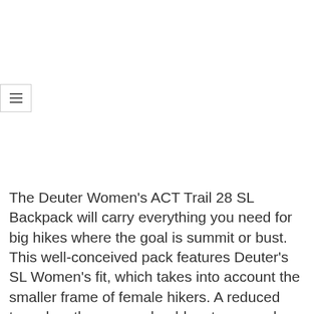[Figure (other): Hamburger menu button icon with three horizontal lines, bordered box in upper left area]
The Deuter Women's ACT Trail 28 SL Backpack will carry everything you need for big hikes where the goal is summit or bust. This well-conceived pack features Deuter's SL Women's fit, which takes into account the smaller frame of female hikers. A reduced torso length, narrow shoulder straps, and a conical shape all result in a better fit for women who feel that standard backpacks are too large. The contoured shoulder straps have a breathable air mesh lining, while the back panel allows air to actively pass between your back and the pack for a cool and comfortable fit. The main compartment can be